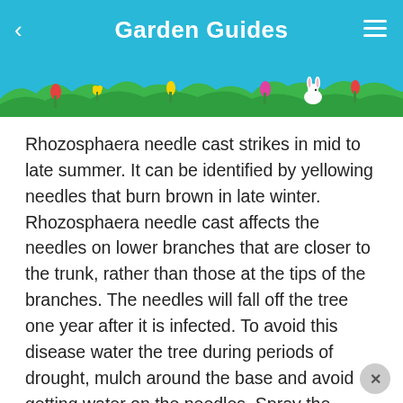Garden Guides
[Figure (illustration): Decorative garden header with grass, flowers, a rabbit, and sky in teal/green colors]
Rhozosphaera needle cast strikes in mid to late summer. It can be identified by yellowing needles that burn brown in late winter. Rhozosphaera needle cast affects the needles on lower branches that are closer to the trunk, rather than those at the tips of the branches. The needles will fall off the tree one year after it is infected. To avoid this disease water the tree during periods of drought, mulch around the base and avoid getting water on the needles. Spray the infected Black Hills spruce tree with a fungicide containing Chlorothalonil, according to package directions, in early spring when new needles are small. Apply again three weeks later, according to package directions.